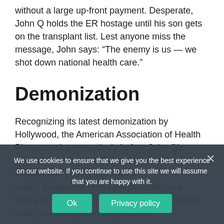without a large up-front payment. Desperate, John Q holds the ER hostage until his son gets on the transplant list. Lest anyone miss the message, John says: “The enemy is us — we shot down national health care.”
Demonization
Recognizing its latest demonization by Hollywood, the American Association of Health Plans struck preemptively before John Q’s release. Ads in the Wall Street Journal and the Washington Post quoted AAHP million people who can’t afford health care. We’re not being defensive here; we’re trying to really shine a light on this problem.”
We use cookies to ensure that we give you the best experience on our website. If you continue to use this site we will assume that you are happy with it.